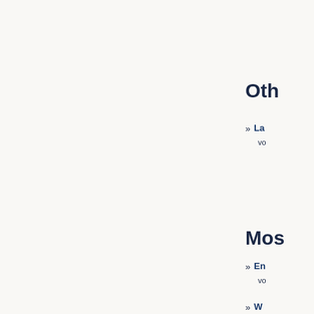Oth
La
vo
Mos
En
vo
W
co
vo
Fa
re
"S